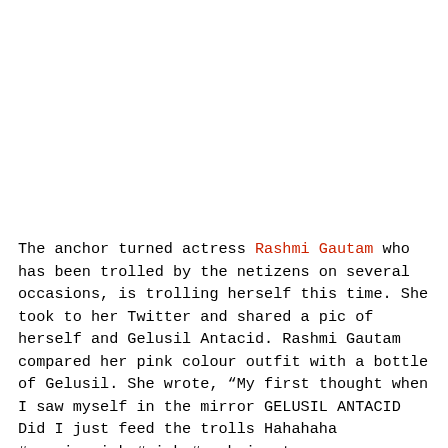The anchor turned actress Rashmi Gautam who has been trolled by the netizens on several occasions, is trolling herself this time. She took to her Twitter and shared a pic of herself and Gelusil Antacid. Rashmi Gautam compared her pink colour outfit with a bottle of Gelusil. She wrote, “My first thought when I saw myself in the mirror GELUSIL ANTACID Did I just feed the trolls Hahahaha #pouringpink #pink #rashmigautam #lifeismagical #dhee11 #dheejodi #coordinate #pantsuit.”